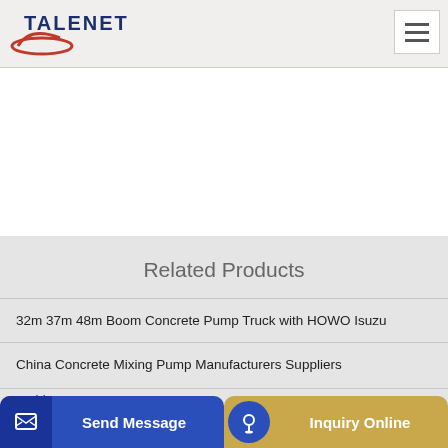TALENET
Related Products
32m 37m 48m Boom Concrete Pump Truck with HOWO Isuzu
China Concrete Mixing Pump Manufacturers Suppliers
…ching…
Send Message
Inquiry Online